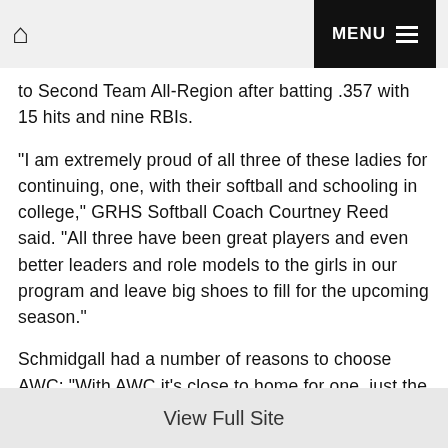🏠 MENU
to Second Team All-Region after batting .357 with 15 hits and nine RBIs.
"I am extremely proud of all three of these ladies for continuing, one, with their softball and schooling in college," GRHS Softball Coach Courtney Reed said. "All three have been great players and even better leaders and role models to the girls in our program and leave big shoes to fill for the upcoming season."
Schmidgall had a number of reasons to choose AWC: "With AWC it's close to home for one, just the comfort was the biggest thing for me. Also, playing with Hannah as a teammate for another two years, and I've played with a couple of the girls at the school as well."
View Full Site